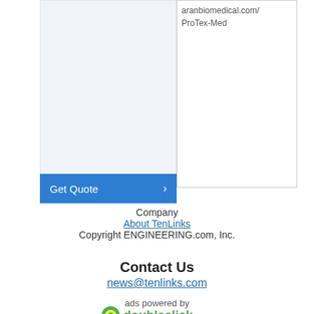aranbiomedical.com/ProTex-Med
Get Quote
Company
About TenLinks
Copyright ENGINEERING.com, Inc.
Contact Us
news@tenlinks.com
ads powered by
[Figure (logo): Doubleclick logo with green circle icon and green bold text]